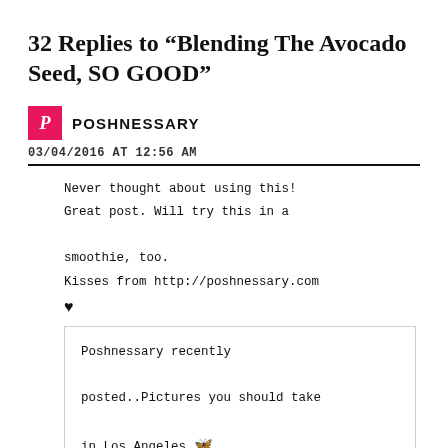32 Replies to “Blending The Avocado Seed, SO GOOD”
POSHNESSARY
03/04/2016 AT 12:56 AM
Never thought about using this! Great post. Will try this in a smoothie, too.
Kisses from http://poshnessary.com
♥
Poshnessary recently posted..Pictures you should take in Los Angeles 🐹